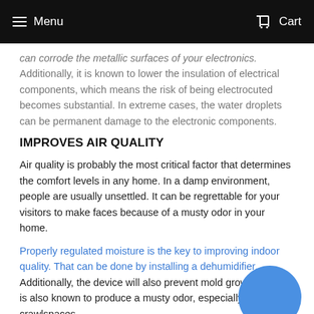Menu  Cart
can corrode the metallic surfaces of your electronics. Additionally, it is known to lower the insulation of electrical components, which means the risk of being electrocuted becomes substantial. In extreme cases, the water droplets can be permanent damage to the electronic components.
IMPROVES AIR QUALITY
Air quality is probably the most critical factor that determines the comfort levels in any home. In a damp environment, people are usually unsettled. It can be regrettable for your visitors to make faces because of a musty odor in your home.
Properly regulated moisture is the key to improving indoor quality. That can be done by installing a dehumidifier. Additionally, the device will also prevent mold growth, which is also known to produce a musty odor, especially in crawlspaces.